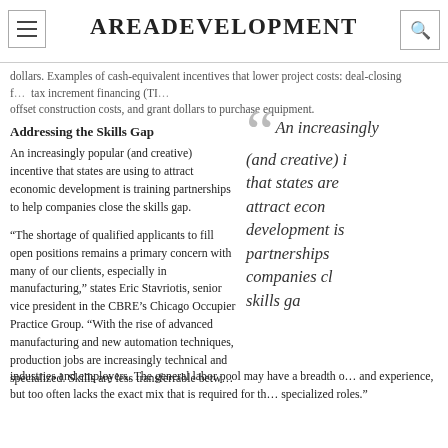AREADEVELOPMENT
dollars. Examples of cash-equivalent incentives that lower project costs: deal-closing funds, tax increment financing (TIF) dollars to offset construction costs, and grant dollars to purchase equipment.
Addressing the Skills Gap
An increasingly popular (and creative) incentive that states are using to attract economic development is training partnerships to help companies close the skills gap.
“The shortage of qualified applicants to fill open positions remains a primary concern with many of our clients, especially in manufacturing,” states Eric Stavriotis, senior vice president in the CBRE’s Chicago Occupier Practice Group. “With the rise of advanced manufacturing and new automation techniques, production jobs are increasingly technical and specialized. Skills are less transferrable between industries and employers. The general labor pool may have a breadth of skills and experience, but too often lacks the exact mix that is required for these specialized roles.”
[Figure (other): Pull quote in italic large text reading: An increasingly popular (and creative) incentive that states are using to attract economic development is training partnerships to help companies close the skills gap.]